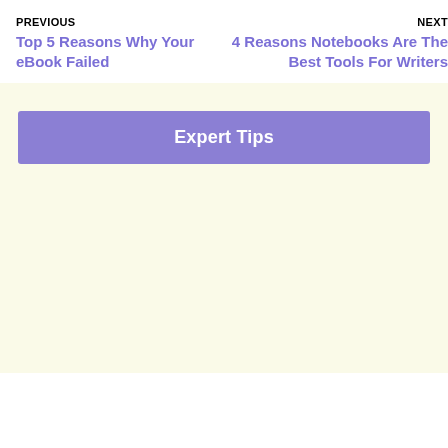PREVIOUS
Top 5 Reasons Why Your eBook Failed
NEXT
4 Reasons Notebooks Are The Best Tools For Writers
Expert Tips